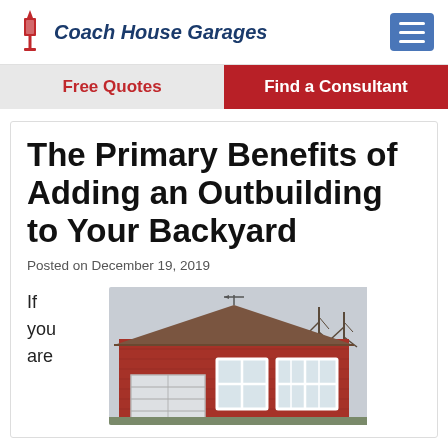Coach House Garages
Free Quotes
Find a Consultant
The Primary Benefits of Adding an Outbuilding to Your Backyard
Posted on December 19, 2019
If you are
[Figure (photo): Exterior photo of a red outbuilding/garage with white-trimmed windows and a garage door, bare trees in background, overcast sky]